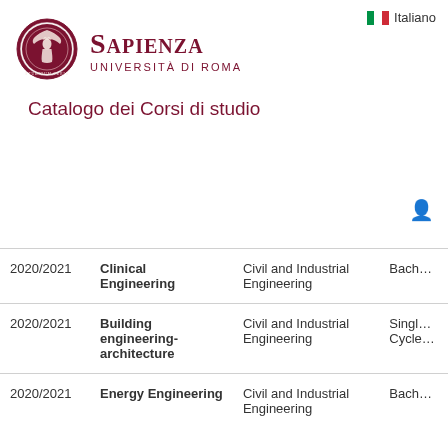Italiano
[Figure (logo): Sapienza Università di Roma logo — circular seal in dark red with eagle and female figure, text STUDIOUM VERIS around border]
SAPIENZA
UNIVERSITÀ DI ROMA
Catalogo dei Corsi di studio
| Year | Course | Department | Type |
| --- | --- | --- | --- |
| 2020/2021 | Clinical Engineering | Civil and Industrial Engineering | Bach… |
| 2020/2021 | Building engineering-architecture | Civil and Industrial Engineering | Singl… Cycle… |
| 2020/2021 | Energy Engineering | Civil and Industrial Engineering | Bach… |